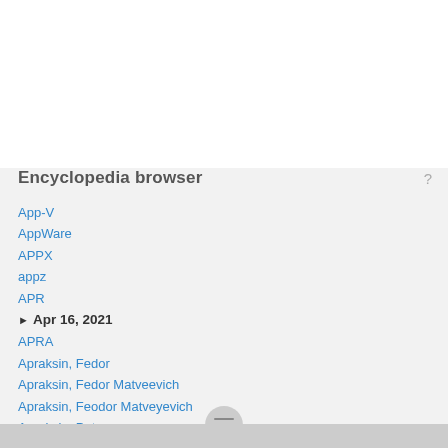Encyclopedia browser
App-V
AppWare
APPX
appz
APR
Apr 16, 2021
APRA
Apraksin, Fedor
Apraksin, Fedor Matveevich
Apraksin, Feodor Matveyevich
Apraksin, Petr